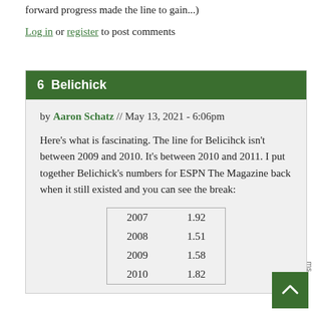forward progress made the line to gain...)
Log in or register to post comments
6  Belichick
by Aaron Schatz // May 13, 2021 - 6:06pm
Here's what is fascinating. The line for Belicihck isn't between 2009 and 2010. It's between 2010 and 2011. I put together Belichick's numbers for ESPN The Magazine back when it still existed and you can see the break:
| Year | Value |
| --- | --- |
| 2007 | 1.92 |
| 2008 | 1.51 |
| 2009 | 1.58 |
| 2010 | 1.82 |